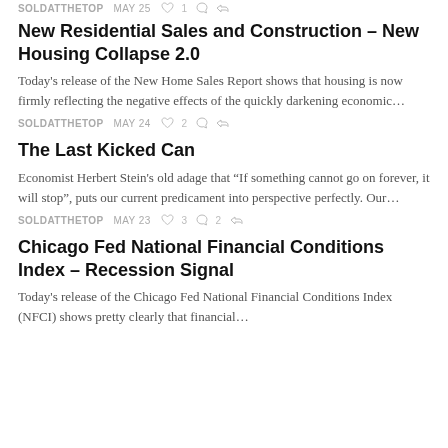SOLDATTHETOP   MAY 25   ♡ 1
New Residential Sales and Construction – New Housing Collapse 2.0
Today's release of the New Home Sales Report shows that housing is now firmly reflecting the negative effects of the quickly darkening economic…
SOLDATTHETOP   MAY 24   ♡ 2
The Last Kicked Can
Economist Herbert Stein's old adage that "If something cannot go on forever, it will stop", puts our current predicament into perspective perfectly. Our…
SOLDATTHETOP   MAY 23   ♡ 3   ○ 2
Chicago Fed National Financial Conditions Index – Recession Signal
Today's release of the Chicago Fed National Financial Conditions Index (NFCI) shows pretty clearly that financial…